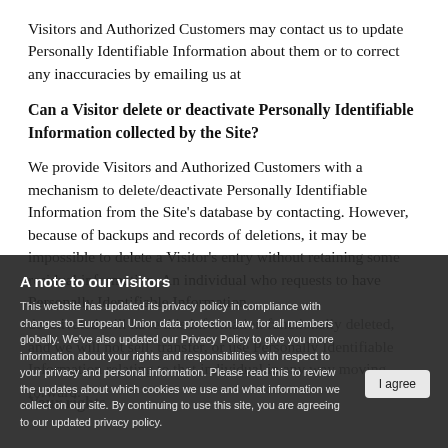Visitors and Authorized Customers may contact us to update Personally Identifiable Information about them or to correct any inaccuracies by emailing us at
Can a Visitor delete or deactivate Personally Identifiable Information collected by the Site?
We provide Visitors and Authorized Customers with a mechanism to delete/deactivate Personally Identifiable Information from the Site's database by contacting. However, because of backups and records of deletions, it may be impossible to delete a Visitor's entry without retaining some residual information. An individual who requests to have Personally Identifiable Information deactivated will have this information functionally deleted, and we will not sell, transfer, or use Personally Identifiable Information relating to that individual in any way moving forward.
Your rights
A note to our visitors
This website has updated its privacy policy in compliance with changes to European Union data protection law, for all members globally. We've also updated our Privacy Policy to give you more information about your rights and responsibilities with respect to your privacy and personal information. Please read this to review the updates about which cookies we use and what information we collect on our site. By continuing to use this site, you are agreeing to our updated privacy policy.